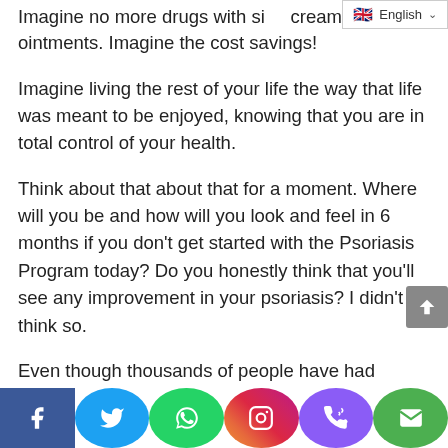Imagine no more drugs with side effects, creams or ointments. Imagine the cost savings!
Imagine living the rest of your life the way that life was meant to be enjoyed, knowing that you are in total control of your health.
Think about that about that for a moment. Where will you be and how will you look and feel in 6 months if you don't get started with the Psoriasis Program today? Do you honestly think that you'll see any improvement in your psoriasis? I didn't think so.
Even though thousands of people have had success with this program, I know you may feel a little